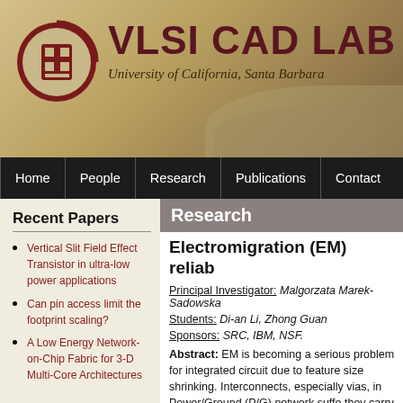VLSI CAD LAB — University of California, Santa Barbara
Home | People | Research | Publications | Contact
Recent Papers
Vertical Slit Field Effect Transistor in ultra-low power applications
Can pin access limit the footprint scaling?
A Low Energy Network-on-Chip Fabric for 3-D Multi-Core Architectures
Research
Electromigration (EM) reliab
Principal Investigator: Malgorzata Marek-Sadowska
Students: Di-an Li, Zhong Guan
Sponsors: SRC, IBM, NSF.
Abstract: EM is becoming a serious problem for integrated circuit due to feature size shrinking. Interconnects, especially vias, in Power/Ground (P/G) network suffer they carry large current. In this project, we s